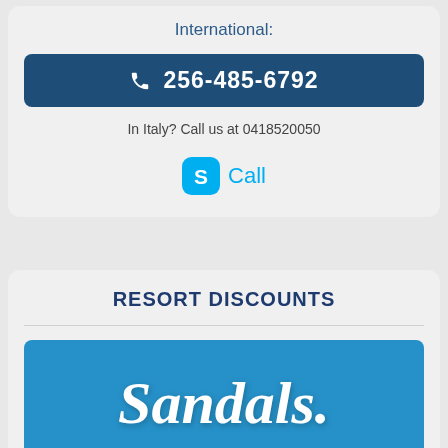International:
256-485-6792
In Italy? Call us at 0418520050
[Figure (logo): Skype Call button with Skype logo icon and text 'Call' in blue]
RESORT DISCOUNTS
[Figure (logo): Sandals resort logo in white italic script on blue background]